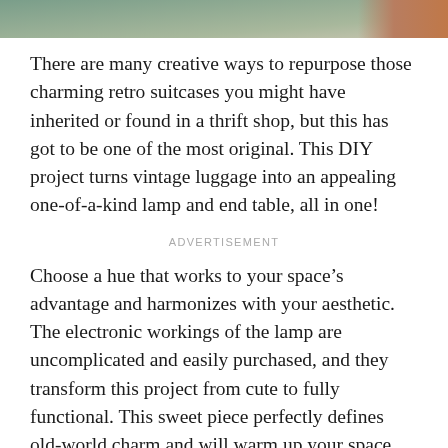[Figure (photo): Partial view of a decorative item, greenish and orange-brown tones at the top of the page]
There are many creative ways to repurpose those charming retro suitcases you might have inherited or found in a thrift shop, but this has got to be one of the most original. This DIY project turns vintage luggage into an appealing one-of-a-kind lamp and end table, all in one!
ADVERTISEMENT
Choose a hue that works to your space’s advantage and harmonizes with your aesthetic. The electronic workings of the lamp are uncomplicated and easily purchased, and they transform this project from cute to fully functional. This sweet piece perfectly defines old-world charm and will warm up your space, especially with the addition of a small vase of flowers or a few books.